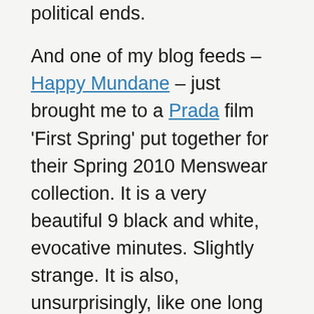political ends.
And one of my blog feeds – Happy Mundane – just brought me to a Prada film 'First Spring' put together for their Spring 2010 Menswear collection. It is a very beautiful 9 black and white, evocative minutes. Slightly strange. It is also, unsurprisingly, like one long photograph from a fashion campaign. I have always liked arty film shorts, though. This one just has some very well dressed models and great Shanghai scenery to make it more of a treat to the eye.
It was commissioned from Chinese artist